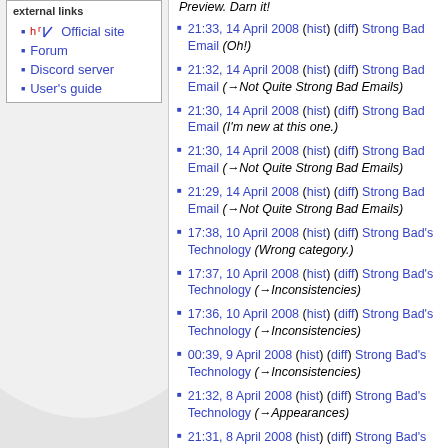external links
Official site
Forum
Discord server
User's guide
Preview. Darn it!
21:33, 14 April 2008 (hist) (diff) Strong Bad Email (Oh!)
21:32, 14 April 2008 (hist) (diff) Strong Bad Email (→Not Quite Strong Bad Emails)
21:30, 14 April 2008 (hist) (diff) Strong Bad Email (I'm new at this one.)
21:30, 14 April 2008 (hist) (diff) Strong Bad Email (→Not Quite Strong Bad Emails)
21:29, 14 April 2008 (hist) (diff) Strong Bad Email (→Not Quite Strong Bad Emails)
17:38, 10 April 2008 (hist) (diff) Strong Bad's Technology (Wrong category.)
17:37, 10 April 2008 (hist) (diff) Strong Bad's Technology (→Inconsistencies)
17:36, 10 April 2008 (hist) (diff) Strong Bad's Technology (→Inconsistencies)
00:39, 9 April 2008 (hist) (diff) Strong Bad's Technology (→Inconsistencies)
21:32, 8 April 2008 (hist) (diff) Strong Bad's Technology (→Appearances)
21:31, 8 April 2008 (hist) (diff) Strong Bad's Technology (→Appearances)